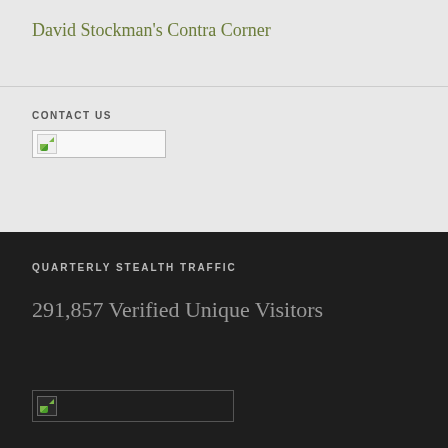David Stockman's Contra Corner
CONTACT US
[Figure (other): Broken image placeholder in a bordered box, representing a contact form or image link]
QUARTERLY STEALTH TRAFFIC
291,857 Verified Unique Visitors
[Figure (other): Broken image placeholder in a bordered box on dark background]